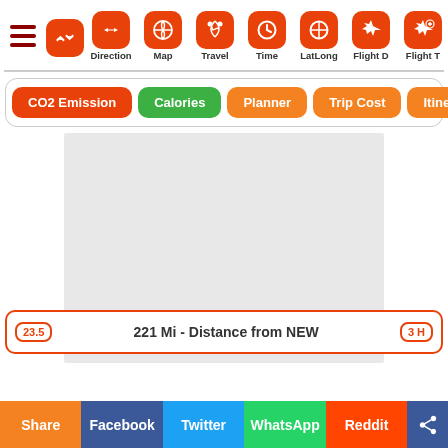[Figure (screenshot): Navigation toolbar with icons for Direction, Map, Travel, Time, LatLong, Flight D, Flight T, and a partially visible icon, plus a swap/exchange button]
[Figure (screenshot): Tab bar with buttons: CO2 Emission (red), Calories (green), Planner (orange), Trip Cost (orange), Itinerary (orange)]
[Figure (screenshot): Gray map placeholder area]
23.5   221 Mi - Distance from NEW   3 H
[Figure (screenshot): Share bar with buttons: Share, Facebook, Twitter, WhatsApp, Reddit, and a share icon button]